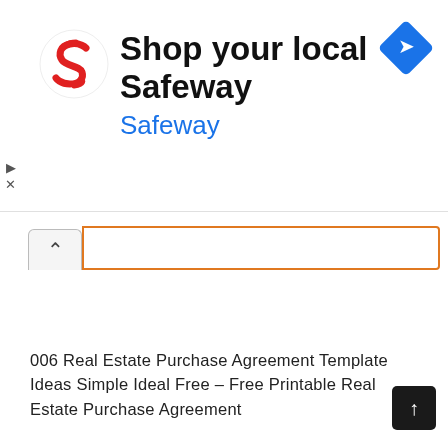[Figure (screenshot): Safeway advertisement banner with red S logo, text 'Shop your local Safeway' and blue 'Safeway' subtitle, with a blue diamond navigation icon on the right]
006 Real Estate Purchase Agreement Template Ideas Simple Ideal Free – Free Printable Real Estate Purchase Agreement